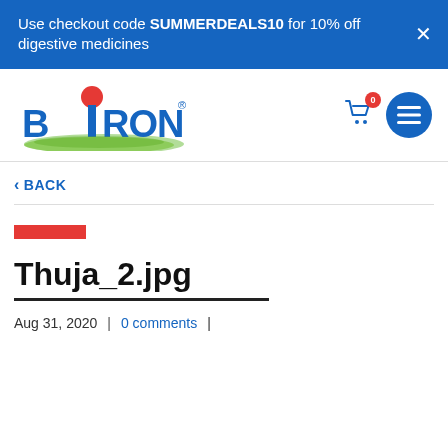Use checkout code SUMMERDEALS10 for 10% off digestive medicines
[Figure (logo): Boiron logo with red ball on green grass]
< BACK
[Figure (other): Red horizontal bar decoration]
Thuja_2.jpg
Aug 31, 2020  |  0 comments |